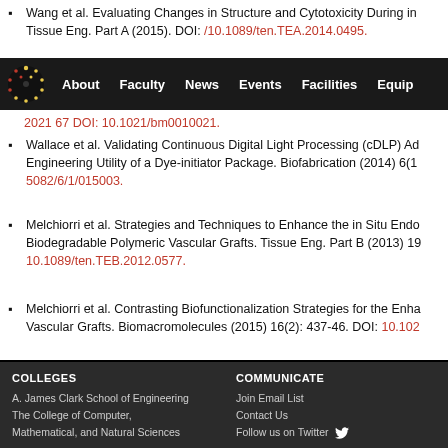Wang et al. Evaluating Changes in Structure and Cytotoxicity During in Tissue Eng. Part A (2015). DOI: /10.1089/ten.TEA.2014.0495.
About | Faculty | News | Events | Facilities | Equip
2021 67 DOI: 10.1021/bm0010021.
Wallace et al. Validating Continuous Digital Light Processing (cDLP) Ad Engineering Utility of a Dye-initiator Package. Biofabrication (2014) 6(1 5082/6/1/015003.
Melchiorri et al. Strategies and Techniques to Enhance the in Situ Endo Biodegradable Polymeric Vascular Grafts. Tissue Eng. Part B (2013) 19 10.1089/ten.TEB.2012.0577.
Melchiorri et al. Contrasting Biofunctionalization Strategies for the Enha Vascular Grafts. Biomacromolecules (2015) 16(2): 437-46. DOI: 10.102
COLLEGES | A. James Clark School of Engineering | The College of Computer, Mathematical, and Natural Sciences | COMMUNICATE | Join Email List | Contact Us | Follow us on Twitter